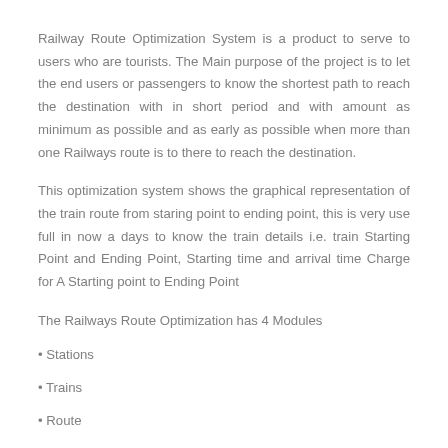Railway Route Optimization System is a product to serve to users who are tourists. The Main purpose of the project is to let the end users or passengers to know the shortest path to reach the destination with in short period and with amount as minimum as possible and as early as possible when more than one Railways route is to there to reach the destination.
This optimization system shows the graphical representation of the train route from staring point to ending point, this is very use full in now a days to know the train details i.e. train Starting Point and Ending Point, Starting time and arrival time Charge for A Starting point to Ending Point
The Railways Route Optimization has 4 Modules
• Stations
• Trains
• Route